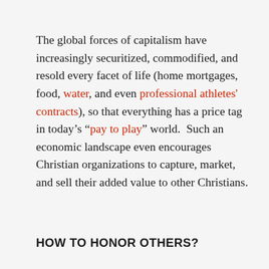The global forces of capitalism have increasingly securitized, commodified, and resold every facet of life (home mortgages, food, water, and even professional athletes' contracts), so that everything has a price tag in today's "pay to play" world.  Such an economic landscape even encourages Christian organizations to capture, market, and sell their added value to other Christians.
HOW TO HONOR OTHERS?